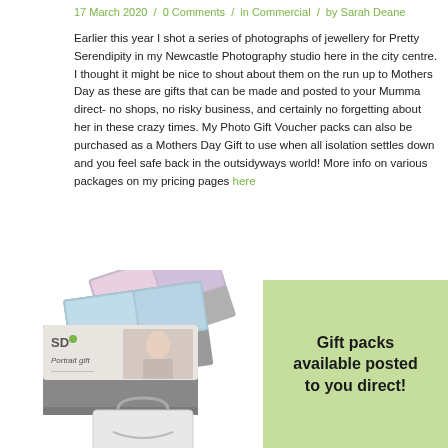17 March 2020 / 0 Comments / in Commercial / by Sarah Deane
Earlier this year I shot a series of photographs of jewellery for Pretty Serendipity in my Newcastle Photography studio here in the city centre. I thought it might be nice to shout about them on the run up to Mothers Day as these are gifts that can be made and posted to your Mumma direct- no shops, no risky business, and certainly no forgetting about her in these crazy times. My Photo Gift Voucher packs can also be purchased as a Mothers Day Gift to use when all isolation settles down and you feel safe back in the outsidyways world! More info on various packages on my pricing pages here
[Figure (photo): Photo gift pack collage showing portrait gift cards and a shopping bag on the left, and a green box with text 'Gift packs available posted to you direct!' on the right]